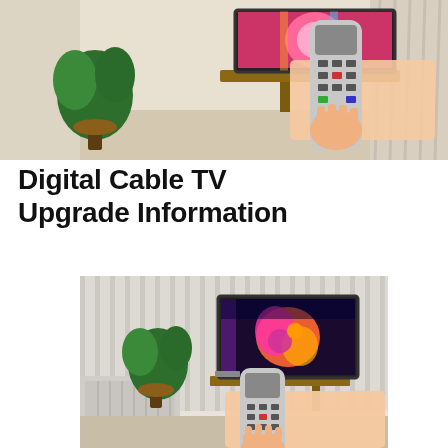[Figure (photo): Person holding a TV remote control pointed toward a flat-screen television in a living room with houseplants and wooden furniture, curtains in background]
Digital Cable TV Upgrade Information
[Figure (photo): Person holding a TV remote control pointed toward a flat-screen television in a living room with houseplants, wooden furniture, and curtained walls with radiator]